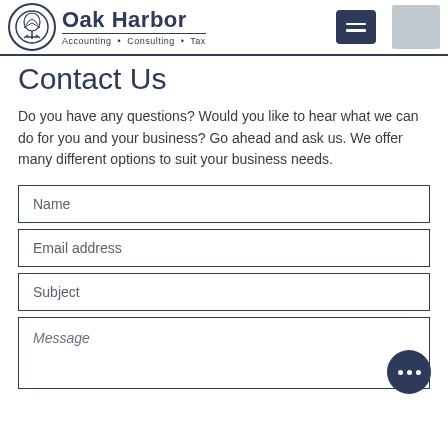Oak Harbor Accounting · Consulting · Tax
Contact Us
Do you have any questions?  Would you like to hear what we can do for you and your business?  Go ahead and ask us. We offer many different options to suit your business needs.
[Figure (infographic): Contact form with fields for Name, Email address, Subject, and Message, with a dark navy chat bubble button overlay]